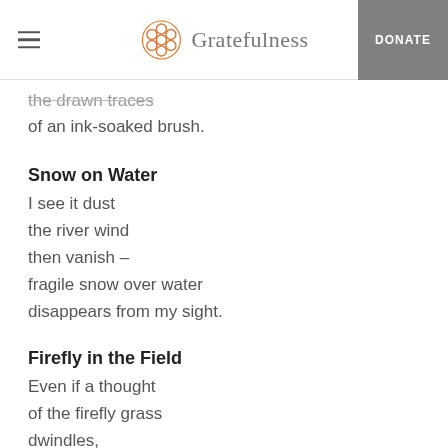Gratefulness | DONATE
the drawn traces
of an ink-soaked brush.
Snow on Water
I see it dust
the river wind
then vanish –
fragile snow over water
disappears from my sight.
Firefly in the Field
Even if a thought
of the firefly grass
dwindles,
it may light up as a firefly
in a remote field.